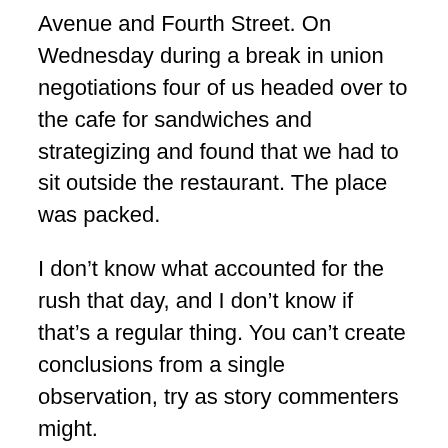Avenue and Fourth Street. On Wednesday during a break in union negotiations four of us headed over to the cafe for sandwiches and strategizing and found that we had to sit outside the restaurant. The place was packed.
I don't know what accounted for the rush that day, and I don't know if that's a regular thing. You can't create conclusions from a single observation, try as story commenters might.
Nonetheless, what I have seen is a host of downtown merchants who are believers in downtown Bremerton. Boston's Pizza is doing great night business now because of the Fairfield Inn.
Bremerton has not turned the corner it needs to for downtown to be considered a success, but despite the economic downturn the momentum hasn't stopped. At